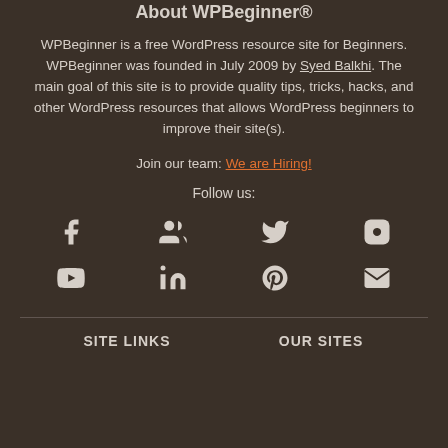About WPBeginner®
WPBeginner is a free WordPress resource site for Beginners. WPBeginner was founded in July 2009 by Syed Balkhi. The main goal of this site is to provide quality tips, tricks, hacks, and other WordPress resources that allows WordPress beginners to improve their site(s).
Join our team: We are Hiring!
Follow us:
[Figure (infographic): Social media icons in two rows: Facebook, Groups/Community, Twitter, Instagram (top row); YouTube, LinkedIn, Pinterest, Email (bottom row)]
SITE LINKS
OUR SITES